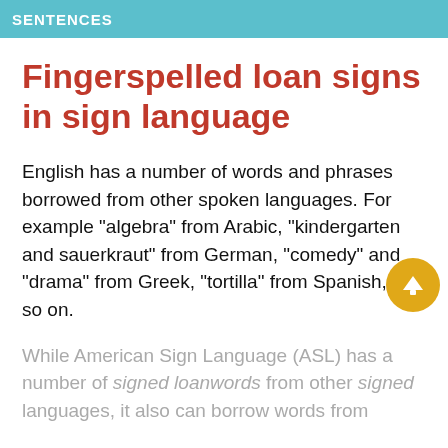SENTENCES
Fingerspelled loan signs in sign language
English has a number of words and phrases borrowed from other spoken languages. For example "algebra" from Arabic, "kindergarten and sauerkraut" from German, "comedy" and "drama" from Greek, "tortilla" from Spanish, and so on.
While American Sign Language (ASL) has a number of signed loanwords from other signed languages, it also can borrow words from